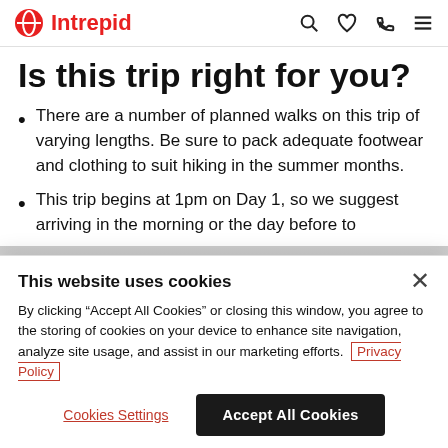Intrepid [logo with navigation icons: search, wishlist, phone, menu]
Is this trip right for you?
There are a number of planned walks on this trip of varying lengths. Be sure to pack adequate footwear and clothing to suit hiking in the summer months.
This trip begins at 1pm on Day 1, so we suggest arriving in the morning or the day before to
This website uses cookies
By clicking "Accept All Cookies" or closing this window, you agree to the storing of cookies on your device to enhance site navigation, analyze site usage, and assist in our marketing efforts.  Privacy Policy
Cookies Settings  Accept All Cookies